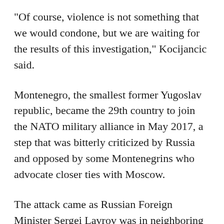"Of course, violence is not something that we would condone, but we are waiting for the results of this investigation," Kocijancic said.
Montenegro, the smallest former Yugoslav republic, became the 29th country to join the NATO military alliance in May 2017, a step that was bitterly criticized by Russia and opposed by some Montenegrins who advocate closer ties with Moscow.
The attack came as Russian Foreign Minister Sergei Lavrov was in neighboring Serbia on a two-day visit to the country, which is juggling its close, warm ties with Moscow with an effort to join the European Union.
Russia and the United States have accused each